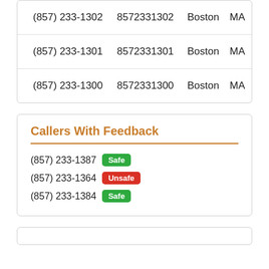| (857) 233-1302 | 8572331302 | Boston | MA |
| (857) 233-1301 | 8572331301 | Boston | MA |
| (857) 233-1300 | 8572331300 | Boston | MA |
Callers With Feedback
(857) 233-1387 Safe
(857) 233-1364 Unsafe
(857) 233-1384 Safe